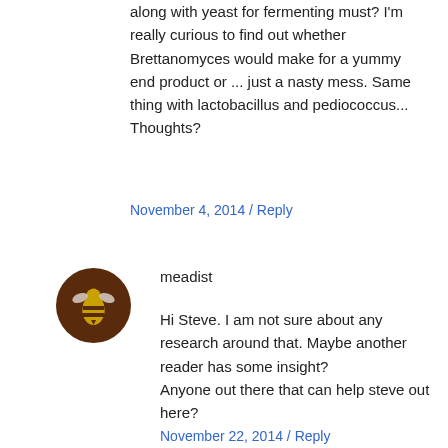along with yeast for fermenting must? I'm really curious to find out whether Brettanomyces would make for a yummy end product or ... just a nasty mess. Same thing with lactobacillus and pediococcus... Thoughts?
November 4, 2014 / Reply
[Figure (logo): Round brown bee logo icon for meadist]
meadist
Hi Steve. I am not sure about any research around that. Maybe another reader has some insight?
Anyone out there that can help steve out here?
November 22, 2014 / Reply